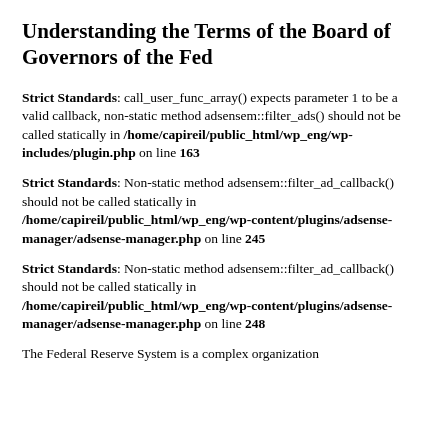Understanding the Terms of the Board of Governors of the Fed
Strict Standards: call_user_func_array() expects parameter 1 to be a valid callback, non-static method adsensem::filter_ads() should not be called statically in /home/capireil/public_html/wp_eng/wp-includes/plugin.php on line 163
Strict Standards: Non-static method adsensem::filter_ad_callback() should not be called statically in /home/capireil/public_html/wp_eng/wp-content/plugins/adsense-manager/adsense-manager.php on line 245
Strict Standards: Non-static method adsensem::filter_ad_callback() should not be called statically in /home/capireil/public_html/wp_eng/wp-content/plugins/adsense-manager/adsense-manager.php on line 248
The Federal Reserve System is a complex organization